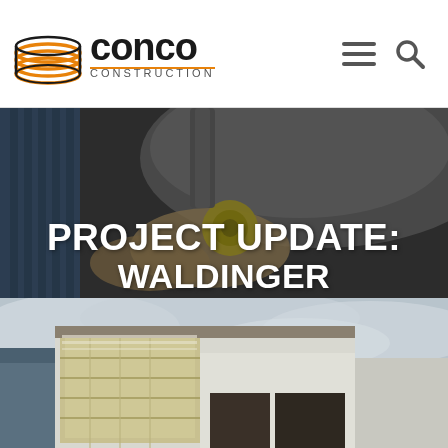Conco Construction — navigation header with logo, hamburger menu, and search icon
[Figure (photo): Close-up overhead photo of a construction worker's hands working on mechanical equipment with a yellow component, overlaid with text. Dark-toned industrial background.]
PROJECT UPDATE: WALDINGER CORPORATE
[Figure (photo): Exterior photo of a commercial building under construction showing structural framing, insulation panels, and partial facade under a cloudy sky.]